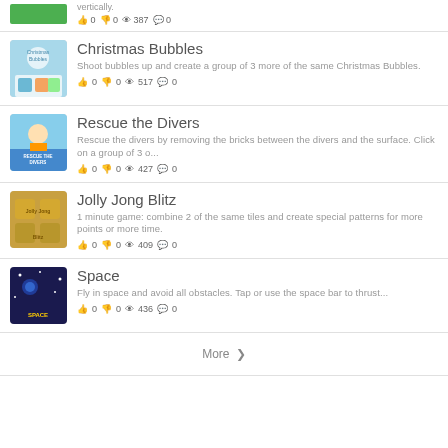vertically.
👍 0 👎 0 👁 387 💬 0
Christmas Bubbles
Shoot bubbles up and create a group of 3 more of the same Christmas Bubbles.
👍 0 👎 0 👁 517 💬 0
Rescue the Divers
Rescue the divers by removing the bricks between the divers and the surface. Click on a group of 3 o...
👍 0 👎 0 👁 427 💬 0
Jolly Jong Blitz
1 minute game: combine 2 of the same tiles and create special patterns for more points or more time.
👍 0 👎 0 👁 409 💬 0
Space
Fly in space and avoid all obstacles. Tap or use the space bar to thrust...
👍 0 👎 0 👁 436 💬 0
More ›